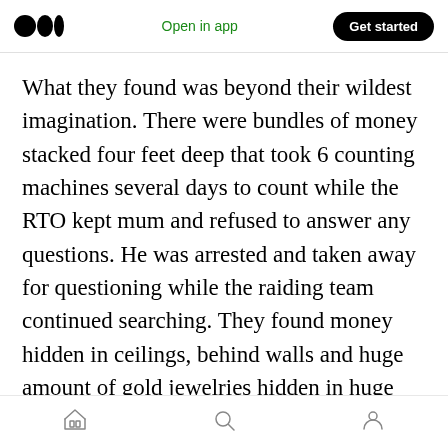Open in app | Get started
What they found was beyond their wildest imagination. There were bundles of money stacked four feet deep that took 6 counting machines several days to count while the RTO kept mum and refused to answer any questions. He was arrested and taken away for questioning while the raiding team continued searching. They found money hidden in ceilings, behind walls and huge amount of gold jewelries hidden in huge bins of rice and wheat. It was a staggering sum of millions of Rupees that the man had accumulated and kept in the house and
Home | Search | Profile